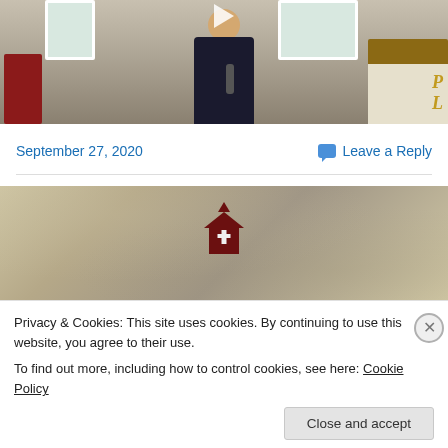[Figure (photo): Video thumbnail showing a minister/pastor in a dark sweater with white stole, holding a microphone, standing in a church interior with red chairs and wooden pulpit. A play button triangle is visible at top center.]
September 27, 2020
Leave a Reply
[Figure (photo): Church/religious website banner image with aged parchment/stone texture background and a dark red church house icon with cross in the center.]
Privacy & Cookies: This site uses cookies. By continuing to use this website, you agree to their use.
To find out more, including how to control cookies, see here: Cookie Policy
Close and accept